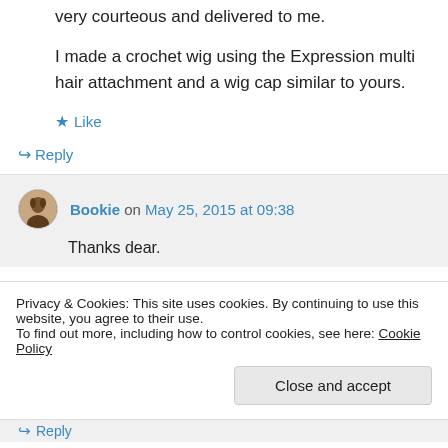very courteous and delivered to me.
I made a crochet wig using the Expression multi hair attachment and a wig cap similar to yours.
★ Like
↪ Reply
Bookie on May 25, 2015 at 09:38
Thanks dear.
Privacy & Cookies: This site uses cookies. By continuing to use this website, you agree to their use.
To find out more, including how to control cookies, see here: Cookie Policy
Close and accept
↪ Reply